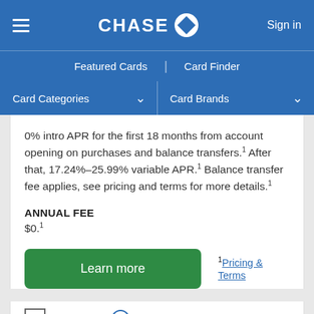Chase — Sign in
Featured Cards | Card Finder
Card Categories ▾   Card Brands ▾
0% intro APR for the first 18 months from account opening on purchases and balance transfers.¹ After that, 17.24%–25.99% variable APR.¹ Balance transfer fee applies, see pricing and terms for more details.¹
ANNUAL FEE
$0.¹
Learn more
¹Pricing & Terms
Compare